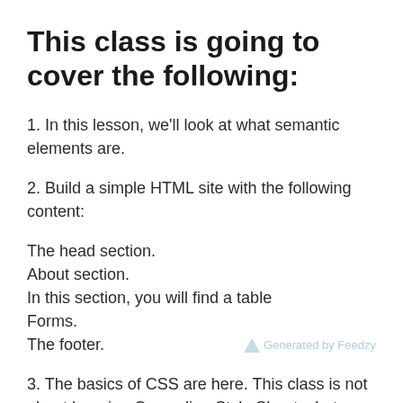This class is going to cover the following:
1. In this lesson, we'll look at what semantic elements are.
2. Build a simple HTML site with the following content:
The head section.
About section.
In this section, you will find a table
Forms.
The footer.
3. The basics of CSS are here. This class is not about learning Cascading Style Sheets, but we will learn some basic CSS so that we can add a little flair to